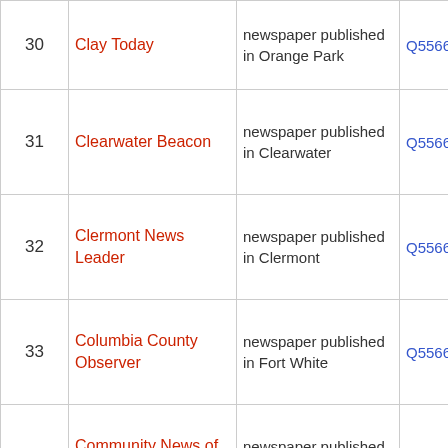| # | Name | Description | ID |
| --- | --- | --- | --- |
| 30 | Clay Today | newspaper published in Orange Park | Q5566605... |
| 31 | Clearwater Beacon | newspaper published in Clearwater | Q5566600... |
| 32 | Clermont News Leader | newspaper published in Clermont | Q5566600... |
| 33 | Columbia County Observer | newspaper published in Fort White | Q5566602... |
| 34 | Community News of Miami | newspaper published in Miami | Q5566604... |
| 35 | Coral Springs News | newspaper published in | Q5566600... |